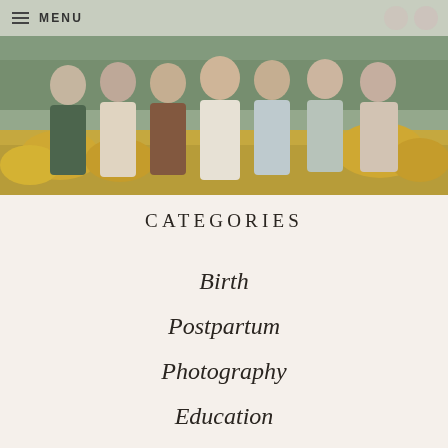[Figure (photo): Group photo of seven women standing together outdoors in a field of yellow flowers with trees and water in the background. Navigation menu bar overlaid at top with MENU text and hamburger icon.]
MENU
CATEGORIES
Birth
Postpartum
Photography
Education